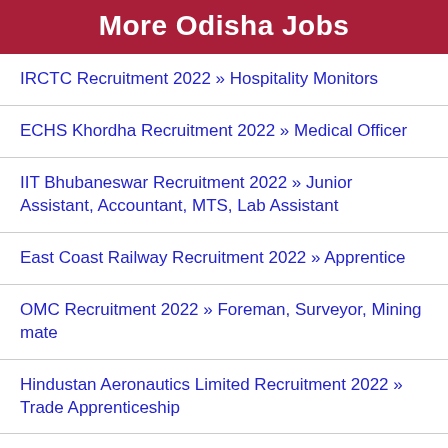More Odisha Jobs
IRCTC Recruitment 2022 » Hospitality Monitors
ECHS Khordha Recruitment 2022 » Medical Officer
IIT Bhubaneswar Recruitment 2022 » Junior Assistant, Accountant, MTS, Lab Assistant
East Coast Railway Recruitment 2022 » Apprentice
OMC Recruitment 2022 » Foreman, Surveyor, Mining mate
Hindustan Aeronautics Limited Recruitment 2022 » Trade Apprenticeship
ECHS Ganjam Recruitment 2022 » Nurse, Pharmacist, Medical Officer